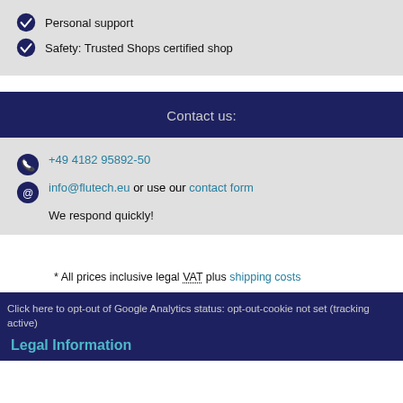Personal support
Safety: Trusted Shops certified shop
Contact us:
+49 4182 95892-50
info@flutech.eu or use our contact form
We respond quickly!
* All prices inclusive legal VAT plus shipping costs
Click here to opt-out of Google Analytics status: opt-out-cookie not set (tracking active)
Legal Information